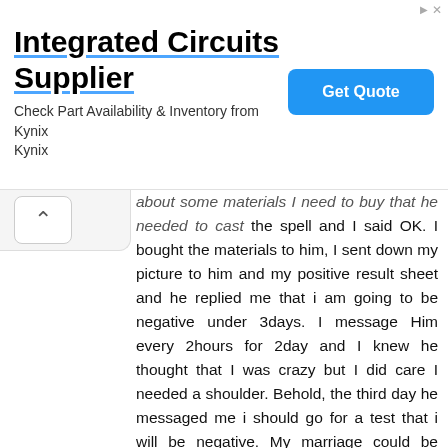[Figure (other): Advertisement banner for 'Integrated Circuits Supplier' by Kynix. Headline: 'Integrated Circuits Supplier'. Subtext: 'Check Part Availability & Inventory from Kynix Kynix'. Button: 'Get Quote'.]
about some materials I need to buy that he needed to cast the spell and I said OK. I bought the materials to him, I sent down my picture to him and my positive result sheet and he replied me that i am going to be negative under 3days. I message Him every 2hours for 2day and I knew he thought that I was crazy but I did care I needed a shoulder. Behold, the third day he messaged me i should go for a test that i will be negative. My marriage could be broken because of a stupid mistake and my life was on the line. I remembered when I was going to get the results of my re-test I called him up again and told him that I was going to get my results today and his reply was "so" and that everything will be as he explained. I knew then that he was getting tired of me calling him, maybe I was wrong. Well I got my results and the first person I called was him - again. As he said hello I started to cry and cry. I could not believe it. I was given a second chance in life.This man is a great spiritual HIV/AIDS healer, his healing spell on aids healing is very powerful